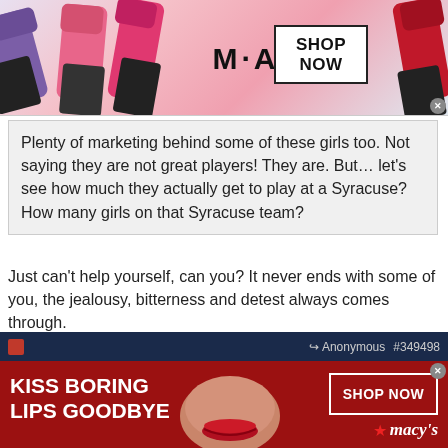[Figure (screenshot): MAC cosmetics advertisement banner showing lipsticks and 'SHOP NOW' button]
Plenty of marketing behind some of these girls too. Not saying they are not great players! They are. But… let's see how much they actually get to play at a Syracuse? How many girls on that Syracuse team?
Just can't help yourself, can you? It never ends with some of you, the jealousy, bitterness and detest always comes through.
Anonymous  #349498
Anonymous
Unregistered
[Figure (screenshot): Macy's advertisement banner: KISS BORING LIPS GOODBYE with SHOP NOW button and Macy's logo]